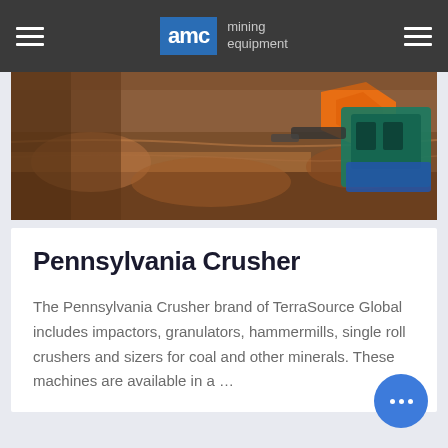AMC mining equipment
[Figure (photo): Mining excavation site with earth-moving machinery; orange and teal equipment visible in a rocky, dirt-filled excavation.]
Pennsylvania Crusher
The Pennsylvania Crusher brand of TerraSource Global includes impactors, granulators, hammermills, single roll crushers and sizers for coal and other minerals. These machines are available in a …